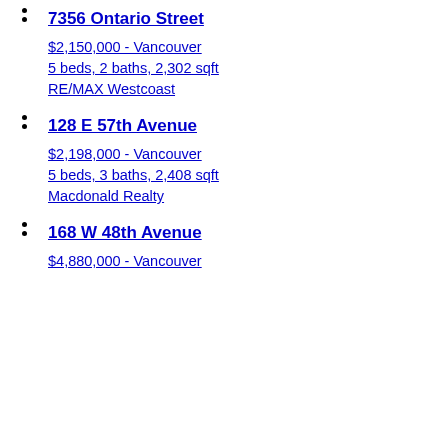$2,499,000 - Vancouver
6 beds, 4 baths, 2,542 sqft
eXp Realty
7356 Ontario Street
$2,150,000 - Vancouver
5 beds, 2 baths, 2,302 sqft
RE/MAX Westcoast
128 E 57th Avenue
$2,198,000 - Vancouver
5 beds, 3 baths, 2,408 sqft
Macdonald Realty
168 W 48th Avenue
$4,880,000 - Vancouver